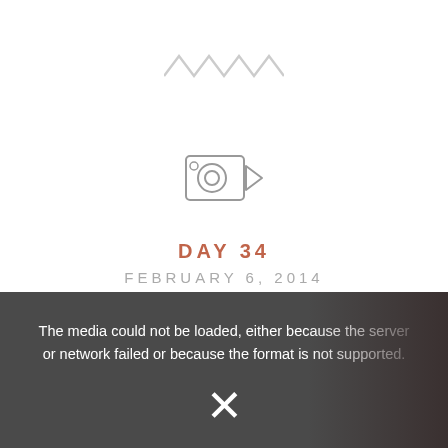[Figure (illustration): Zigzag/chevron decorative line icon in light gray]
[Figure (illustration): Video camera outline icon in gray]
DAY 34
FEBRUARY 6, 2014
The media could not be loaded, either because the server or network failed or because the format is not supported.